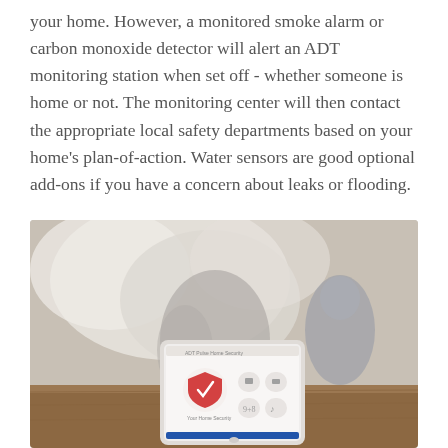your home. However, a monitored smoke alarm or carbon monoxide detector will alert an ADT monitoring station when set off - whether someone is home or not. The monitoring center will then contact the appropriate local safety departments based on your home's plan-of-action. Water sensors are good optional add-ons if you have a concern about leaks or flooding.
[Figure (photo): Photo of an ADT security tablet/control panel sitting on a wooden surface in the foreground, with two children playing with a makeshift fort/tent in the blurred background of a home interior.]